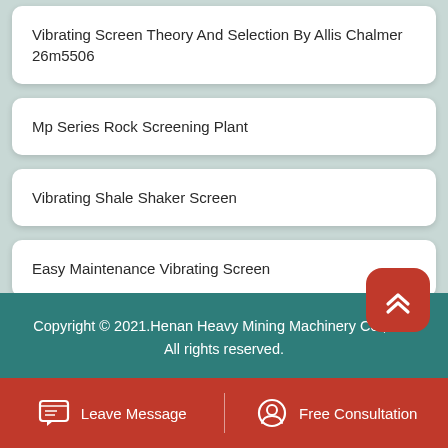Vibrating Screen Theory And Selection By Allis Chalmer 26m5506
Mp Series Rock Screening Plant
Vibrating Shale Shaker Screen
Easy Maintenance Vibrating Screen
Copyright © 2021.Henan Heavy Mining Machinery Co., Ltd. All rights reserved.
Leave Message
Free Consultation